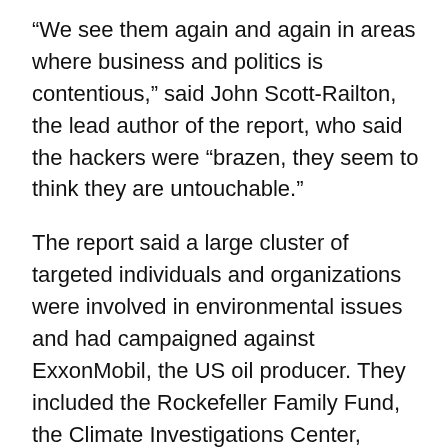“We see them again and again in areas where business and politics is contentious,” said John Scott-Railton, the lead author of the report, who said the hackers were “brazen, they seem to think they are untouchable.”
The report said a large cluster of targeted individuals and organizations were involved in environmental issues and had campaigned against ExxonMobil, the US oil producer. They included the Rockefeller Family Fund, the Climate Investigations Center, Greenpeace, the Conservation Law Foundation, and the Union of Concerned Scientists. Exxon declined to comment before “reviewing the full report.”